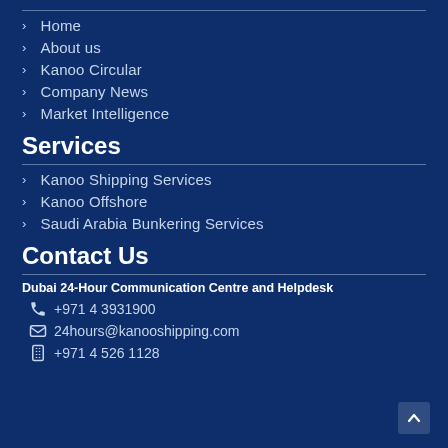Home
About us
Kanoo Circular
Company News
Market Intelligence
Services
Kanoo Shipping Services
Kanoo Offshore
Saudi Arabia Bunkering Services
Contact Us
Dubai 24-Hour Communication Centre and Helpdesk
+971 4 3931900
24hours@kanooshipping.com
+971 4 526 1128